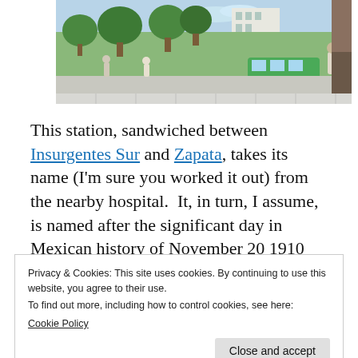[Figure (photo): A mural or illustration displayed on a wall showing a colorful street scene with trees, people, and a green bus in an urban setting.]
This station, sandwiched between Insurgentes Sur and Zapata, takes its name (I'm sure you worked it out) from the nearby hospital.  It, in turn, I assume, is named after the significant day in Mexican history of November 20 1910
Privacy & Cookies: This site uses cookies. By continuing to use this website, you agree to their use.
To find out more, including how to control cookies, see here:
Cookie Policy
Close and accept
…into of adding a basis to…